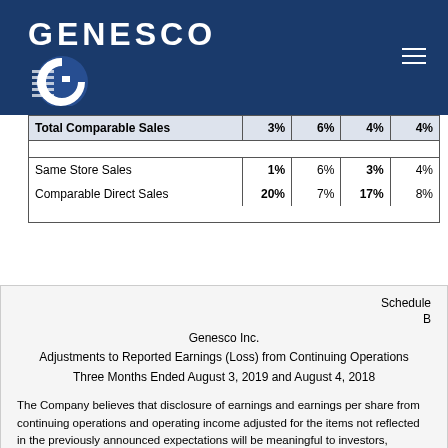GENESCO
|  | Col1 | Col2 | Col3 | Col4 |
| --- | --- | --- | --- | --- |
| Total Comparable Sales | 3% | 6% | 4% | 4% |
| Same Store Sales | 1% | 6% | 3% | 4% |
| Comparable Direct Sales | 20% | 7% | 17% | 8% |
Schedule B
Genesco Inc.
Adjustments to Reported Earnings (Loss) from Continuing Operations
Three Months Ended August 3, 2019 and August 4, 2018
The Company believes that disclosure of earnings and earnings per share from continuing operations and operating income adjusted for the items not reflected in the previously announced expectations will be meaningful to investors, especially in light of the impact of such items on the results.